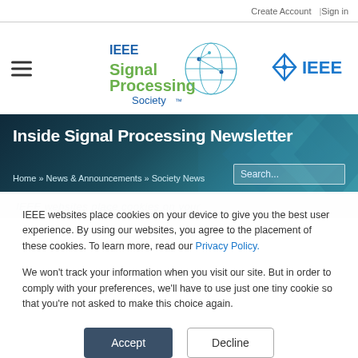Create Account  |  Sign in
[Figure (logo): IEEE Signal Processing Society logo with globe graphic]
[Figure (logo): IEEE diamond logo with text IEEE]
Inside Signal Processing Newsletter
Home » News & Announcements » Society News
IEEE websites place cookies on your device to give you the best user experience. By using our websites, you agree to the placement of these cookies. To learn more, read our Privacy Policy.
We won't track your information when you visit our site. But in order to comply with your preferences, we'll have to use just one tiny cookie so that you're not asked to make this choice again.
Accept
Decline